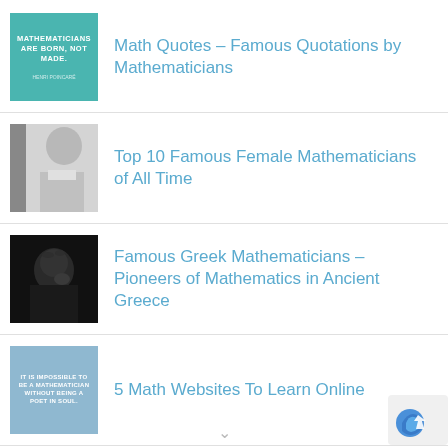Math Quotes – Famous Quotations by Mathematicians
Top 10 Famous Female Mathematicians of All Time
Famous Greek Mathematicians – Pioneers of Mathematics in Ancient Greece
5 Math Websites To Learn Online